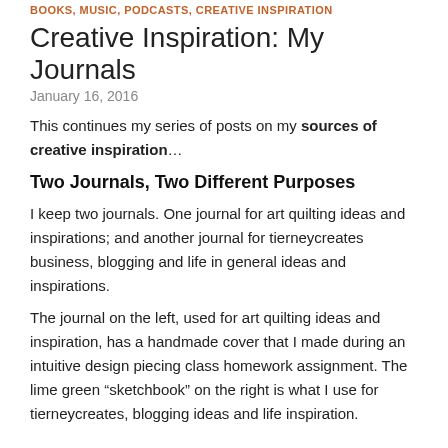BOOKS, MUSIC, PODCASTS, CREATIVE INSPIRATION
Creative Inspiration: My Journals
January 16, 2016
This continues my series of posts on my sources of creative inspiration...
Two Journals, Two Different Purposes
I keep two journals. One journal for art quilting ideas and inspirations; and another journal for tierneycreates business, blogging and life in general ideas and inspirations.
The journal on the left, used for art quilting ideas and inspiration, has a handmade cover that I made during an intuitive design piecing class homework assignment. The lime green “sketchbook” on the right is what I use for tierneycreates, blogging ideas and life inspiration.